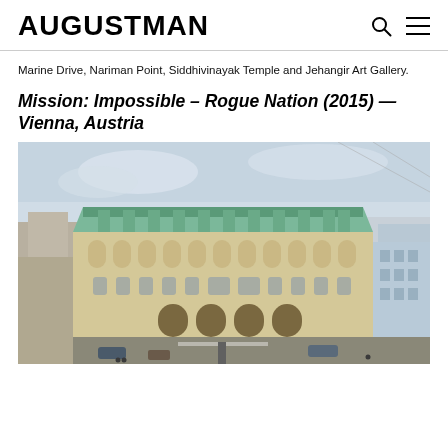AUGUSTMAN
Marine Drive, Nariman Point, Siddhivinayak Temple and Jehangir Art Gallery.
Mission: Impossible – Rogue Nation (2015) — Vienna, Austria
[Figure (photo): Aerial/elevated view of the Vienna State Opera building with ornate neoclassical architecture, green copper roof, street traffic visible below, overcast sky.]